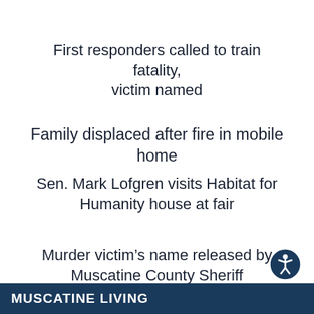First responders called to train fatality, victim named
Family displaced after fire in mobile home
Sen. Mark Lofgren visits Habitat for Humanity house at fair
Murder victim’s name released by Muscatine County Sheriff
MUSCATINE LIVING